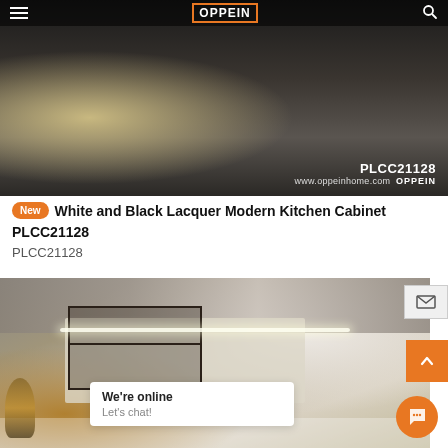[Figure (screenshot): OPPEIN website header with hamburger menu, OPPEIN logo in orange border, and search icon on dark semi-transparent bar over a hero kitchen image showing modern white and black kitchen with product code PLCC21128 and www.oppeinhome.com OPPEIN watermark]
New White and Black Lacquer Modern Kitchen Cabinet PLCC21128
PLCC21128
[Figure (photo): Interior kitchen scene showing modern cabinets with open metal shelving, marble wall, pendant lamp, cream-colored cabinetry with glass doors, kitchen island with white countertop, with a live chat widget overlay saying We're online / Let's chat!]